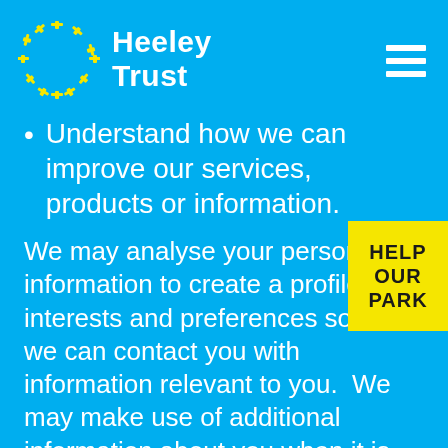Heeley Trust
Understand how we can improve our services, products or information.
We may analyse your personal information to create a profile of interests and preferences so that we can contact you with information relevant to you.  We may make use of additional information about you when it is available from external sources to help us do this effectively.  We may also
[Figure (logo): Help Our Park yellow badge with bold black text]